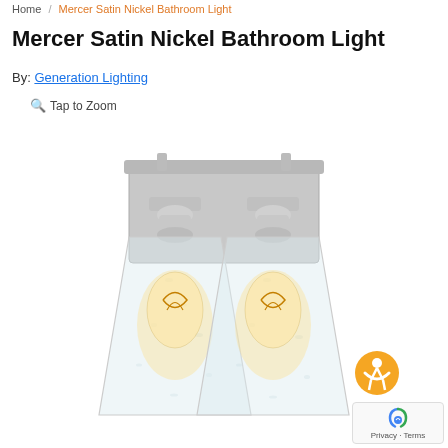Home / Mercer Satin Nickel Bathroom Light
Mercer Satin Nickel Bathroom Light
By: Generation Lighting
Tap to Zoom
[Figure (photo): Product photo of Mercer Satin Nickel Bathroom Light by Generation Lighting. A two-light bathroom vanity fixture with satin nickel finish, rectangular backplate, and clear seeded glass shades housing Edison-style bulbs with visible filaments.]